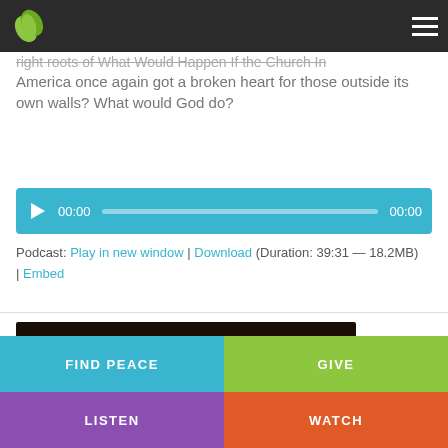right roots of What Would Happen If the Church In America once again got a broken heart for those outside its own walls? What would God do?
[Figure (other): Audio player with play button, time 00:00, progress bar, and end time 00:00 on teal background]
Podcast: Play in new window | Download (Duration: 39:31 — 18.2MB) | Embed
[Figure (photo): Three crosses silhouetted against a dramatic orange and dark sky]
FIND PEACE | GIVE | LISTEN | WATCH